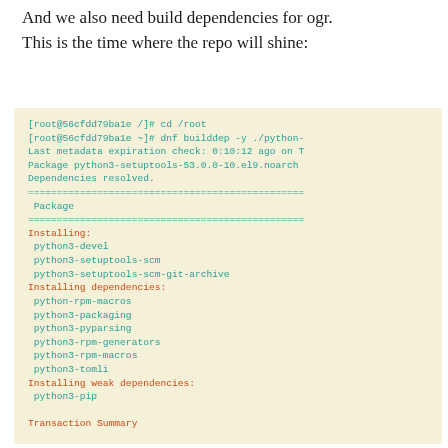And we also need build dependencies for ogr. This is the time where the repo will shine:
[Figure (screenshot): Terminal output showing dnf builddep command installing python3 build dependencies including python3-devel, python3-setuptools-scm, python3-setuptools-scm-git-archive, python-rpm-macros, python3-packaging, python3-pyparsing, python3-rpm-generators, python3-rpm-macros, python3-tomli, python3-pip, ending with Transaction Summary]